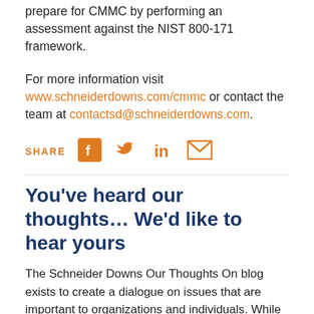prepare for CMMC by performing an assessment against the NIST 800-171 framework.
For more information visit www.schneiderdowns.com/cmmc or contact the team at contactsd@schneiderdowns.com.
[Figure (infographic): SHARE row with Facebook, Twitter, LinkedIn, and email icons in orange]
You’ve heard our thoughts… We’d like to hear yours
The Schneider Downs Our Thoughts On blog exists to create a dialogue on issues that are important to organizations and individuals. While we enjoy sharing our ideas and insights, we’re especially interested in what you may have to say. If you have a question or a comment about this article… or any article from the Our Thoughts